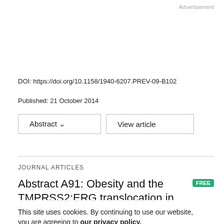Advertisement
DOI: https://doi.org/10.1158/1940-6207.PREV-09-B102
Published: 21 October 2014
Abstract ∨   View article
JOURNAL ARTICLES
Abstract A91: Obesity and the TMPRSS2:ERG translocation in prostate cancer
This site uses cookies. By continuing to use our website, you are agreeing to our privacy policy. Accept